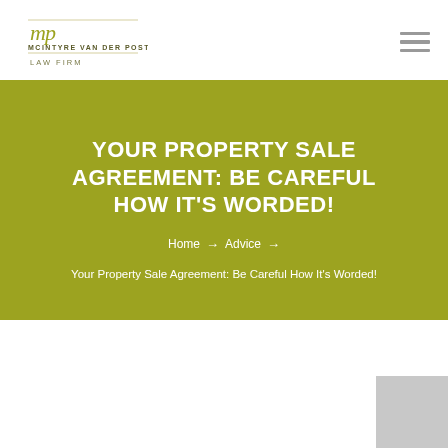[Figure (logo): McIntyre van der Post Law Firm logo with stylized MP monogram in olive/gold color and firm name text]
YOUR PROPERTY SALE AGREEMENT: BE CAREFUL HOW IT'S WORDED!
Home → Advice → Your Property Sale Agreement: Be Careful How It's Worded!